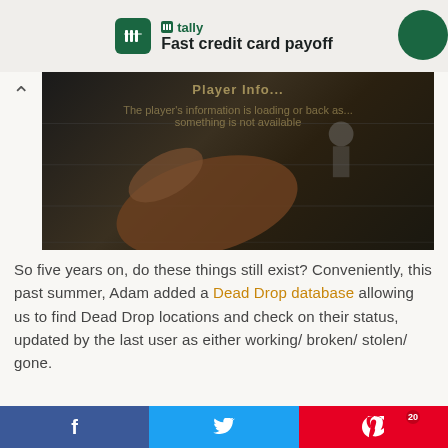[Figure (other): Tally app advertisement banner: green icon with 'tally' branding and text 'Fast credit card payoff']
[Figure (photo): Dark video thumbnail showing a hand reaching toward or touching a wall/surface, with text overlay 'Player Info...' and subtitle text about the player's information loading or being back]
So five years on, do these things still exist? Conveniently, this past summer, Adam added a Dead Drop database allowing us to find Dead Drop locations and check on their status, updated by the last user as either working/ broken/ stolen/ gone.
[Figure (other): Social sharing bar at bottom with Facebook (blue), Twitter (cyan), and Pinterest (red) buttons]